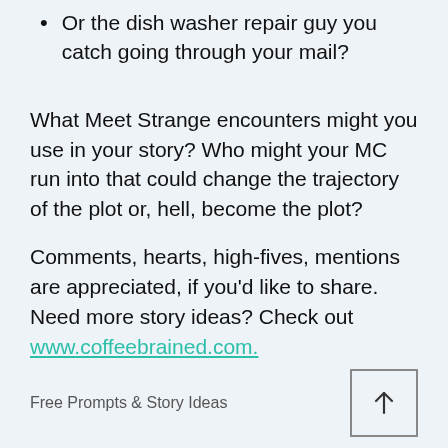Or the dish washer repair guy you catch going through your mail?
What Meet Strange encounters might you use in your story? Who might your MC run into that could change the trajectory of the plot or, hell, become the plot?
Comments, hearts, high-fives, mentions are appreciated, if you'd like to share. Need more story ideas? Check out www.coffeebrained.com.
Free Prompts & Story Ideas